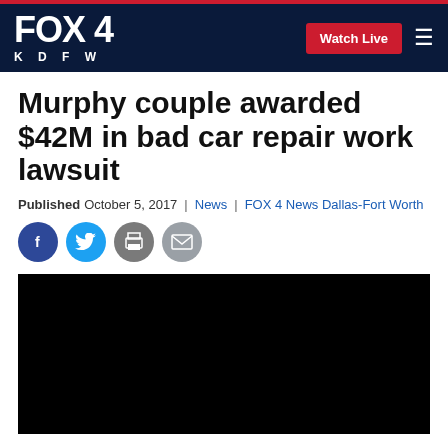FOX 4 KDFW | Watch Live
Murphy couple awarded $42M in bad car repair work lawsuit
Published October 5, 2017 | News | FOX 4 News Dallas-Fort Worth
[Figure (other): Social sharing icons: Facebook, Twitter, Print, Email]
[Figure (photo): Black video player embed area]